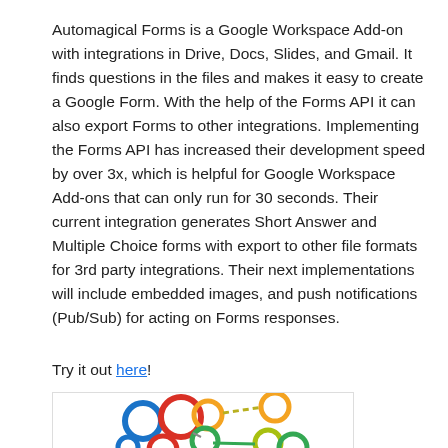Automagical Forms is a Google Workspace Add-on with integrations in Drive, Docs, Slides, and Gmail. It finds questions in the files and makes it easy to create a Google Form. With the help of the Forms API it can also export Forms to other integrations. Implementing the Forms API has increased their development speed by over 3x, which is helpful for Google Workspace Add-ons that can only run for 30 seconds. Their current integration generates Short Answer and Multiple Choice forms with export to other file formats for 3rd party integrations. Their next implementations will include embedded images, and push notifications (Pub/Sub) for acting on Forms responses.
Try it out here!
[Figure (illustration): Colorful interconnected circle rings illustration showing blue, red/orange, orange, green, and yellow-green rings connected by lines, partially cropped at bottom.]